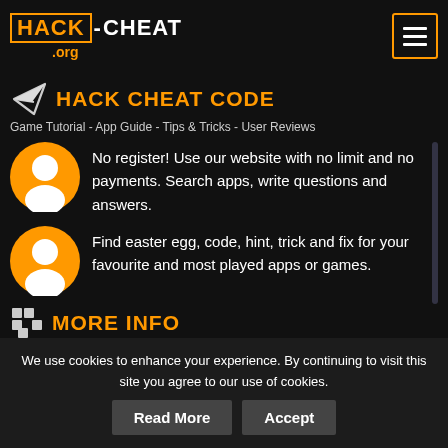HACK-CHEAT .org
HACK CHEAT CODE
Game Tutorial - App Guide - Tips & Tricks - User Reviews
No register! Use our website with no limit and no payments. Search apps, write questions and answers.
Find easter egg, code, hint, trick and fix for your favourite and most played apps or games.
MORE INFO
Website address with email contact details
We use cookies to enhance your experience. By continuing to visit this site you agree to our use of cookies.